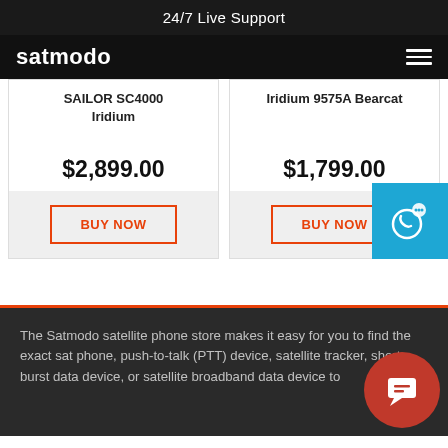24/7 Live Support
[Figure (logo): Satmodo logo — white bold text on black nav bar with hamburger menu icon]
SAILOR SC4000 Iridium
$2,899.00
BUY NOW
Iridium 9575A Bearcat
$1,799.00
BUY NOW
The Satmodo satellite phone store makes it easy for you to find the exact sat phone, push-to-talk (PTT) device, satellite tracker, short burst data device, or satellite broadband data device to